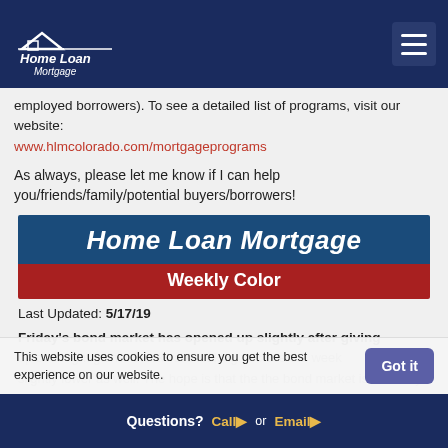Home Loan Mortgage
employed borrowers). To see a detailed list of programs, visit our website:
www.hlmcolorado.com/mortgageprograms
As always, please let me know if I can help you/friends/family/potential buyers/borrowers!
[Figure (logo): Home Loan Mortgage Weekly Color banner logo with dark blue background and red subtitle bar]
Last Updated: 5/17/19
Friday's bond market has opened up slightly after giving up overnight gains. Stocks are looking to close the week slightly lower as well. The hope is that the bond market is currently up...
This website uses cookies to ensure you get the best experience on our website.
Questions? Call or Email